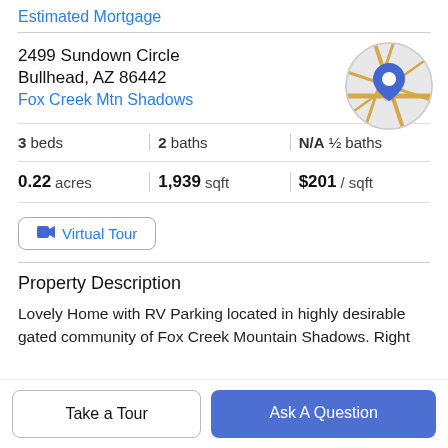Estimated Mortgage
2499 Sundown Circle
Bullhead, AZ 86442
Fox Creek Mtn Shadows
[Figure (map): Circular map thumbnail showing street map with a blue location pin marker]
| 3 beds | 2 baths | N/A ½ baths |
| 0.22 acres | 1,939 sqft | $201 / sqft |
Virtual Tour
Property Description
Lovely Home with RV Parking located in highly desirable gated community of Fox Creek Mountain Shadows. Right
Take a Tour
Ask A Question